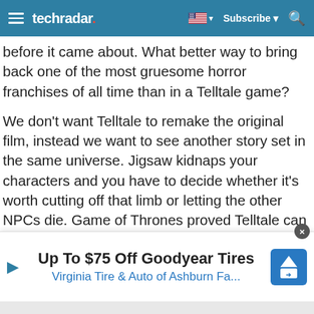techradar
before it came about. What better way to bring back one of the most gruesome horror franchises of all time than in a Telltale game?
We don't want Telltale to remake the original film, instead we want to see another story set in the same universe. Jigsaw kidnaps your characters and you have to decide whether it's worth cutting off that limb or letting the other NPCs die. Game of Thrones proved Telltale can do gore, now it's time to take it to the next level.
Our favourite scene: In a nasty twist, your fate is decided by the NPCs you've been interacting with for the entire
[Figure (infographic): Advertisement banner: Up To $75 Off Goodyear Tires, Virginia Tire & Auto of Ashburn Fa...]